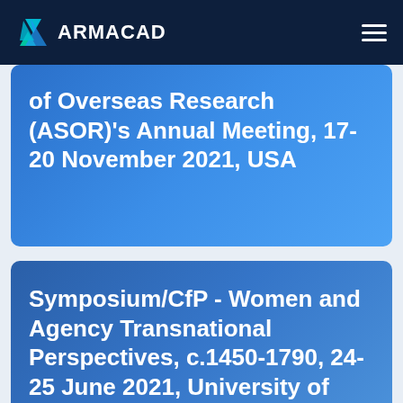ARMACAD
of Overseas Research (ASOR)'s Annual Meeting, 17-20 November 2021, USA
Symposium/CfP - Women and Agency Transnational Perspectives, c.1450-1790, 24-25 June 2021, University of Oxford,